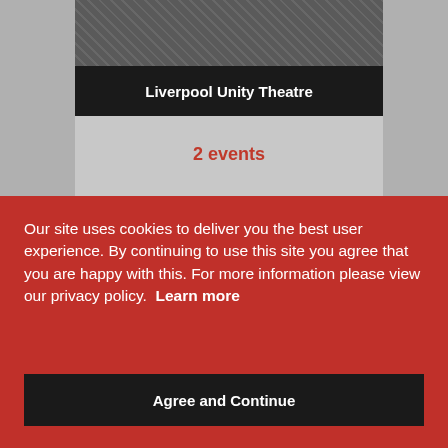Liverpool Unity Theatre
2 events
Artists performing include:
Sofie Hagen   Sophie Duker
Our site uses cookies to deliver you the best user experience. By continuing to use this site you agree that you are happy with this. For more information please view our privacy policy.  Learn more
Agree and Continue